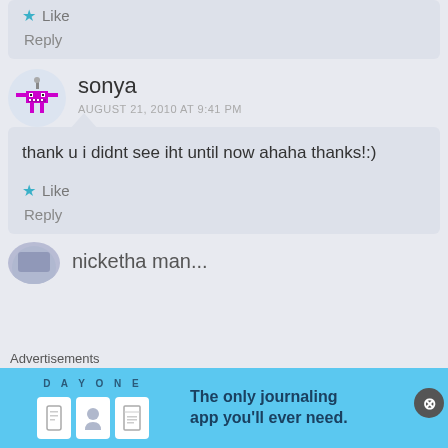Like
Reply
sonya
AUGUST 21, 2010 AT 9:41 PM
thank u i didnt see iht until now ahaha thanks!:)
Like
Reply
[Figure (illustration): Pixel art avatar of a small monster/robot character in magenta/pink color]
[Figure (illustration): Partial avatar of another commenter at the bottom]
Advertisements
[Figure (infographic): Day One journaling app advertisement banner with text: The only journaling app you'll ever need.]